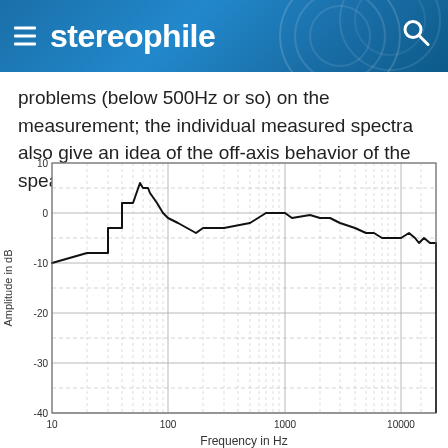stereophile
problems (below 500Hz or so) on the measurement; the individual measured spectra also give an idea of the off-axis behavior of the speaker under test.
[Figure (continuous-plot): Frequency response chart with logarithmic x-axis (10 Hz to 20000 Hz) and y-axis showing Amplitude in dB (-40 to +10 dB). The response curve starts around -8 dB at 20 Hz, rises to about +2 to +6 dB between 40-80 Hz, drops to around -2 to -4 dB from 100-800 Hz, stays near 0 dB around 1000 Hz, then gradually declines to about -5 to -6 dB above 10000 Hz.]